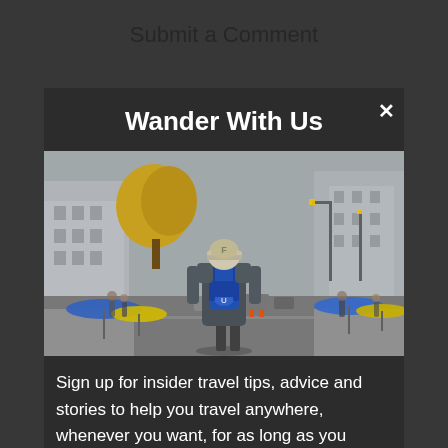Submit a Comment
Wander With Us
[Figure (photo): Person with a blue backpack (Under Armour logo visible) standing on a busy city street, viewed from behind. Yellow autumn trees and street traffic visible on both sides. Blue and yellow market umbrellas in the foreground.]
Sign up for insider travel tips, advice and stories to help you travel anywhere, whenever you want, for as long as you desire.